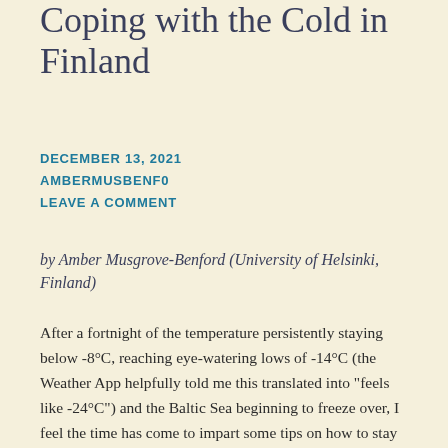Coping with the Cold in Finland
DECEMBER 13, 2021
AMBERMUSBENF0
LEAVE A COMMENT
by Amber Musgrove-Benford (University of Helsinki, Finland)
After a fortnight of the temperature persistently staying below -8°C, reaching eye-watering lows of -14°C (the Weather App helpfully told me this translated into "feels like -24°C") and the Baltic Sea beginning to freeze over, I feel the time has come to impart some tips on how to stay warm during the Finnish winter.